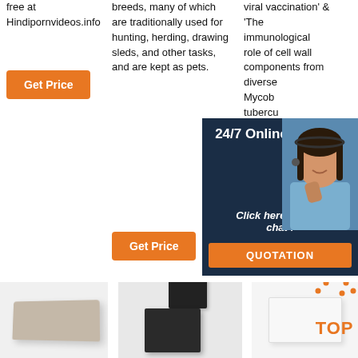free at Hindipornvideos.info
[Figure (other): Orange 'Get Price' button]
breeds, many of which are traditionally used for hunting, herding, drawing sleds, and other tasks, and are kept as pets.
[Figure (other): Orange 'Get Price' button]
viral vaccination' & 'The immunological role of cell wall components from diverse Mycobacterium tuberculosis clinical July 20
[Figure (other): Orange 'Get Price' button (partially visible)]
[Figure (other): 24/7 Online chat widget overlay with agent photo, 'Click here for free chat!' text and QUOTATION button]
[Figure (photo): Tan/beige foam brick product image]
[Figure (photo): Black foam blocks stacked product image]
[Figure (photo): White box product image with TOP orange badge]